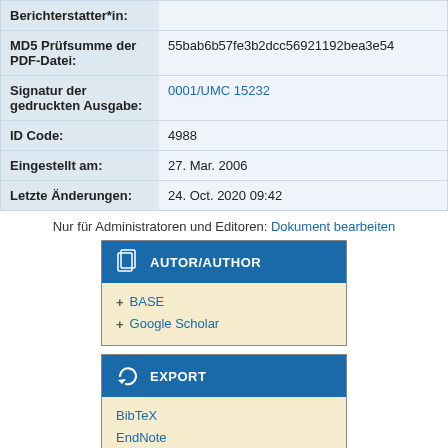| Field | Value |
| --- | --- |
| Berichterstatter*in: |  |
| MD5 Prüfsumme der PDF-Datei: | 55bab6b57fe3b2dcc56921192bea3e54 |
| Signatur der gedruckten Ausgabe: | 0001/UMC 15232 |
| ID Code: | 4988 |
| Eingestellt am: | 27. Mar. 2006 |
| Letzte Änderungen: | 24. Oct. 2020 09:42 |
Nur für Administratoren und Editoren: Dokument bearbeiten
[Figure (infographic): AUTOR/AUTHOR widget box with blue header showing document icon and links to BASE and Google Scholar]
[Figure (infographic): EXPORT widget box with blue header showing export icon and links to BibTeX, EndNote, HTML]